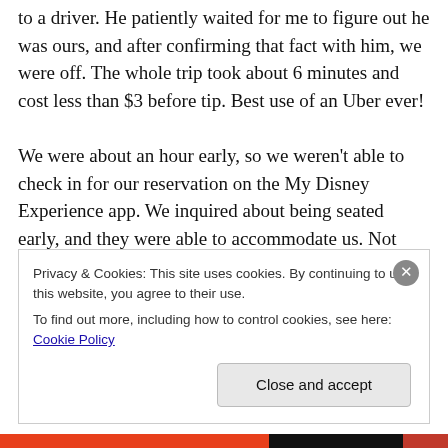to a driver. He patiently waited for me to figure out he was ours, and after confirming that fact with him, we were off. The whole trip took about 6 minutes and cost less than $3 before tip. Best use of an Uber ever!
We were about an hour early, so we weren't able to check in for our reservation on the My Disney Experience app. We inquired about being seated early, and they were able to accommodate us. Not only that, but they gave us what I
Privacy & Cookies: This site uses cookies. By continuing to use this website, you agree to their use.
To find out more, including how to control cookies, see here: Cookie Policy